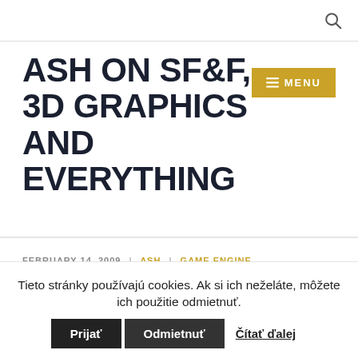ASH ON SF&F, 3D GRAPHICS AND EVERYTHING [search icon] [MENU button]
ASH ON SF&F, 3D GRAPHICS AND EVERYTHING
FEBRUARY 14, 2009 | ASH | GAME ENGINE
Texture plug-in
Tieto stránky používajú cookies. Ak si ich neželáte, môžete ich použitie odmietnuť. [Prijať] [Odmietnuť] [Čítať ďalej]